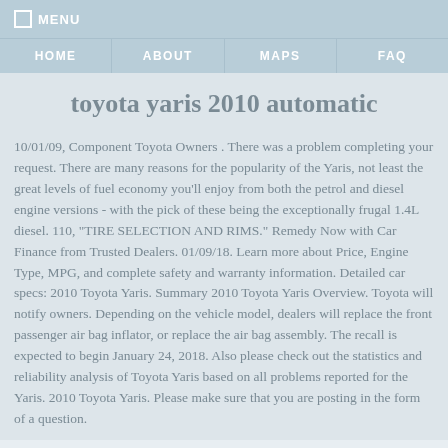☐ MENU
HOME | ABOUT | MAPS | FAQ
toyota yaris 2010 automatic
10/01/09, Component Toyota Owners . There was a problem completing your request. There are many reasons for the popularity of the Yaris, not least the great levels of fuel economy you'll enjoy from both the petrol and diesel engine versions - with the pick of these being the exceptionally frugal 1.4L diesel. 110, "TIRE SELECTION AND RIMS." Remedy Now with Car Finance from Trusted Dealers. 01/09/18. Learn more about Price, Engine Type, MPG, and complete safety and warranty information. Detailed car specs: 2010 Toyota Yaris. Summary 2010 Toyota Yaris Overview. Toyota will notify owners. Depending on the vehicle model, dealers will replace the front passenger air bag inflator, or replace the air bag assembly. The recall is expected to begin January 24, 2018. Also please check out the statistics and reliability analysis of Toyota Yaris based on all problems reported for the Yaris. 2010 Toyota Yaris. Please make sure that you are posting in the form of a question.